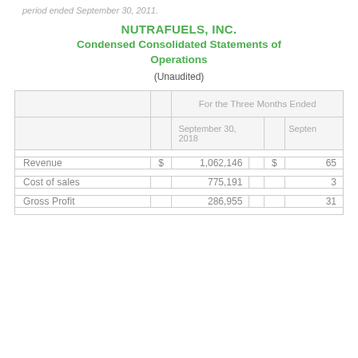period ended September 30, 2011.
NUTRAFUELS, INC.
Condensed Consolidated Statements of Operations
(Unaudited)
|  |  | For the Three Months Ended |  |  |  |
| --- | --- | --- | --- | --- | --- |
|  |  | September 30, 2018 |  | Septen |  |
| Revenue | $ | 1,062,146 | $ | 65 |  |
| Cost of sales |  | 775,191 |  | 3 |  |
| Gross Profit |  | 286,955 |  | 31 |  |